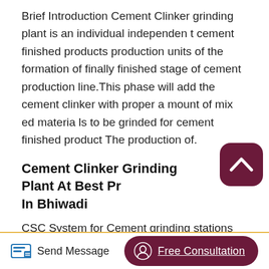Brief Introduction Cement Clinker grinding plant is an individual independen t cement finished products production units of the formation of finally finished stage of cement production line.This phase will add the cement clinker with proper a mount of mix ed materia ls to be grinded for cement finished product The production of.
Cement Clinker Grinding Plant At Best Pr In Bhiwadi
CSC System for Cement grinding stations CSC Supplier Certificate – Cement Cement grinding stations Cement production in cement grinding plants is performed by co-grinding clinker and gypsum in dedicated mills (e.g. ball mills, vertical
[Figure (other): Scroll-to-top button: dark maroon rounded square with upward chevron arrow icon]
Send Message   Free Consultation